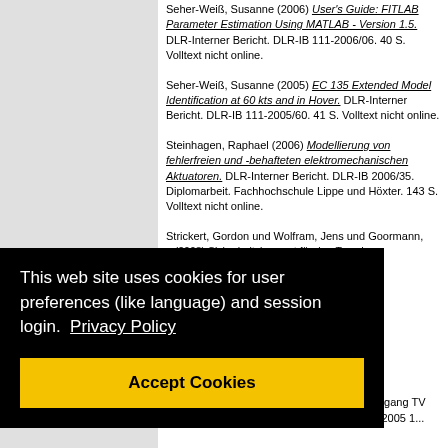Seher-Weiß, Susanne (2006) User's Guide: FITLAB Parameter Estimation Using MATLAB - Version 1.5. DLR-Interner Bericht. DLR-IB 111-2006/06. 40 S. Volltext nicht online.
Seher-Weiß, Susanne (2005) EC 135 Extended Model Identification at 60 kts and in Hover. DLR-Interner Bericht. DLR-IB 111-2005/60. 41 S. Volltext nicht online.
Steinhagen, Raphael (2006) Modellierung von fehlerfreien und -behafteten elektromechanischen Aktuatoren. DLR-Interner Bericht. DLR-IB 2006/35. Diplomarbeit. Fachhochschule Lippe und Höxter. 143 S. Volltext nicht online.
Strickert, Gordon und Wolfram, Jens und Goormann, ... (2008) Sicherheitskonzept für das Teaming Flugzeug, MUM-T ... Bericht. DLR-IB ... Volltext nicht online.
This web site uses cookies for user preferences (like language) and session login. Privacy Policy
Accept Cookies
... Unmanned-Teaming ... systeme", ... Volltext ...
... Unmanned-Teaming und Kooperation von UAV-Teams. CCG Lehrgang TV 3.09 "UAV Führungssysteme", 2005 11 22 - 2005 1...